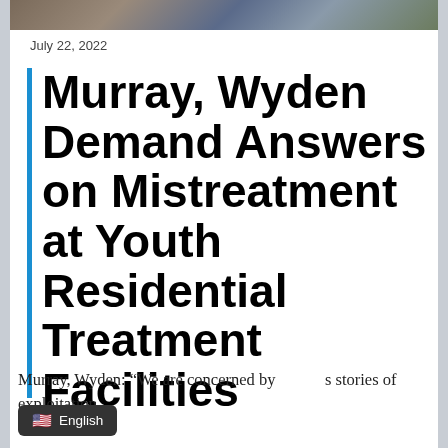[Figure (photo): Photo strip at top showing people, partially cropped]
July 22, 2022
Murray, Wyden Demand Answers on Mistreatment at Youth Residential Treatment Facilities
Murray, Wyden: “We are concerned by s stories of exploitation,